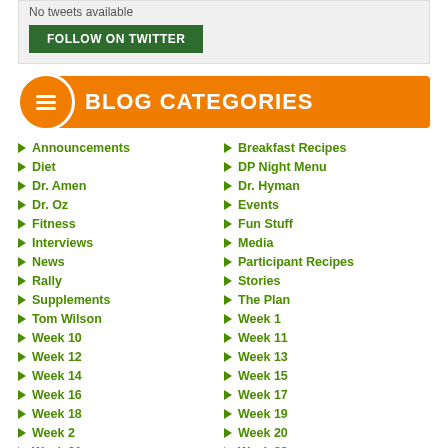No tweets available
FOLLOW ON TWITTER
BLOG CATEGORIES
Announcements
Breakfast Recipes
Diet
DP Night Menu
Dr. Amen
Dr. Hyman
Dr. Oz
Events
Fitness
Fun Stuff
Interviews
Media
News
Participant Recipes
Rally
Stories
Supplements
The Plan
Tom Wilson
Week 1
Week 10
Week 11
Week 12
Week 13
Week 14
Week 15
Week 16
Week 17
Week 18
Week 19
Week 2
Week 20
Week 21
Week 22
Week 23
Week 24
Week 25
Week 26